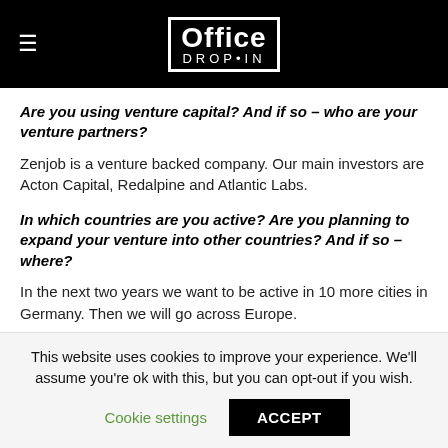Office Drop-In
Are you using venture capital? And if so – who are your venture partners?
Zenjob is a venture backed company. Our main investors are Acton Capital, Redalpine and Atlantic Labs.
In which countries are you active? Are you planning to expand your venture into other countries? And if so – where?
In the next two years we want to be active in 10 more cities in Germany. Then we will go across Europe.
This website uses cookies to improve your experience. We'll assume you're ok with this, but you can opt-out if you wish.